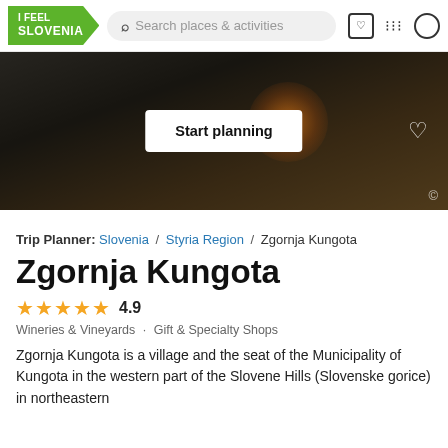I FEEL SLOVENIA — Search places & activities header with navigation icons
[Figure (photo): Hero image of a dark fire bowl/cauldron with flames, overlaid with a 'Start planning' button and heart icon]
Trip Planner: Slovenia / Styria Region / Zgornja Kungota
Zgornja Kungota
4.9 stars — Wineries & Vineyards · Gift & Specialty Shops
Zgornja Kungota is a village and the seat of the Municipality of Kungota in the western part of the Slovene Hills (Slovenske gorice) in northeastern